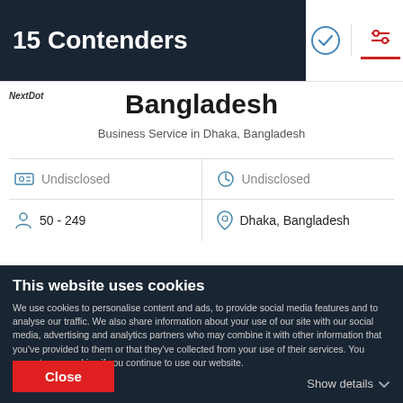15 Contenders
Bangladesh
Business Service in Dhaka, Bangladesh
|  | Value |  | Value |
| --- | --- | --- | --- |
| [tag icon] | Undisclosed | [clock icon] | Undisclosed |
| [person icon] | 50 - 249 | [location icon] | Dhaka, Bangladesh |
Ability to deliver 5.2
This website uses cookies
We use cookies to personalise content and ads, to provide social media features and to analyse our traffic. We also share information about your use of our site with our social media, advertising and analytics partners who may combine it with other information that you've provided to them or that they've collected from your use of their services. You agree to our cookies if you continue to use our website.
Close
Show details